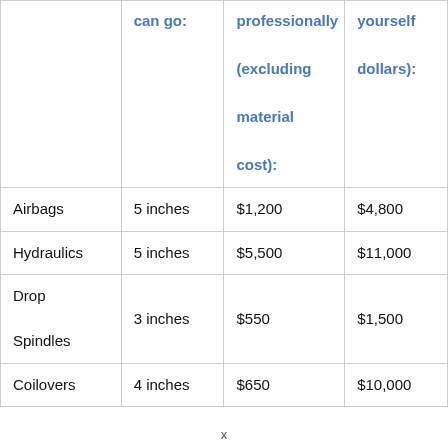|  | can go: | professionally (excluding material cost): | yourself dollars): |
| --- | --- | --- | --- |
| Airbags | 5 inches | $1,200 | $4,800 |
| Hydraulics | 5 inches | $5,500 | $11,000 |
| Drop Spindles | 3 inches | $550 | $1,500 |
| Coilovers | 4 inches | $650 | $10,000 |
x